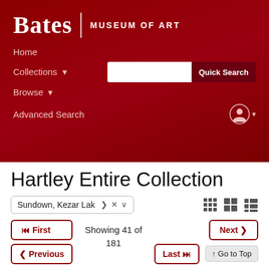Bates | MUSEUM OF ART
Home
Collections ▾
Browse ▾
Advanced Search
Hartley Entire Collection
Sundown, Kezar Lak
Showing 41 of 181
⏮ First
Next ❯
❮ Previous
Last ⏭
⬆ Go to Top